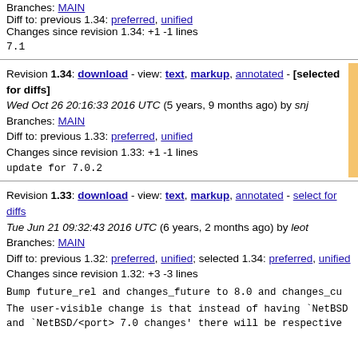Branches: MAIN
Diff to: previous 1.34: preferred, unified
Changes since revision 1.34: +1 -1 lines
7.1
Revision 1.34: download - view: text, markup, annotated - [selected for diffs]
Wed Oct 26 20:16:33 2016 UTC (5 years, 9 months ago) by snj
Branches: MAIN
Diff to: previous 1.33: preferred, unified
Changes since revision 1.33: +1 -1 lines
update for 7.0.2
Revision 1.33: download - view: text, markup, annotated - select for diffs
Tue Jun 21 09:32:43 2016 UTC (6 years, 2 months ago) by leot
Branches: MAIN
Diff to: previous 1.32: preferred, unified; selected 1.34: preferred, unified
Changes since revision 1.32: +3 -3 lines
Bump future_rel and changes_future to 8.0 and changes_cu
The user-visible change is that instead of having `NetBSD and `NetBSD/<port> 7.0 changes' there will be respective